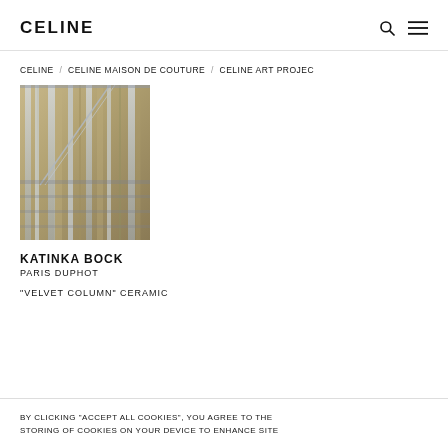CELINE
CELINE / CELINE MAISON DE COUTURE / CELINE ART PROJEC
[Figure (photo): Photograph of an art installation showing metallic/glass vertical elements alongside wooden panels, with industrial shelving visible in the background]
KATINKA BOCK
PARIS DUPHOT
"VELVET COLUMN" CERAMIC
BY CLICKING "ACCEPT ALL COOKIES", YOU AGREE TO THE STORING OF COOKIES ON YOUR DEVICE TO ENHANCE SITE